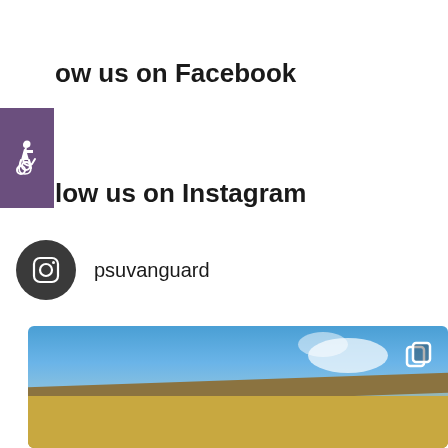[Figure (illustration): Purple accessibility badge with wheelchair icon on the left edge]
Follow us on Facebook
Follow us on Instagram
psuvanguard
[Figure (photo): Photo showing a blue sky with clouds above a building with a brown/gold roof and walls, with a copy/gallery icon in the top-right corner]